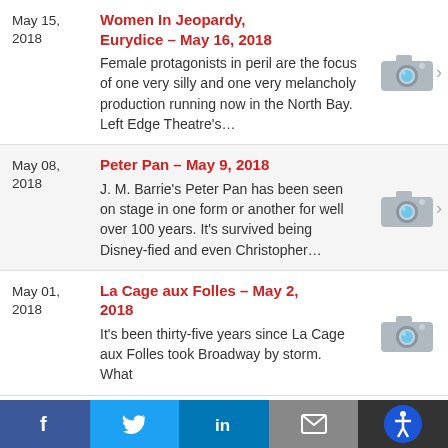May 15, 2018 | Women In Jeopardy, Eurydice – May 16, 2018 | Female protagonists in peril are the focus of one very silly and one very melancholy production running now in the North Bay. Left Edge Theatre's...
May 08, 2018 | Peter Pan – May 9, 2018 | J. M. Barrie's Peter Pan has been seen on stage in one form or another for well over 100 years. It's survived being Disney-fied and even Christopher...
May 01, 2018 | La Cage aux Folles – May 2, 2018 | It's been thirty-five years since La Cage aux Folles took Broadway by storm. What
f  t  in  [email]  [accessibility]